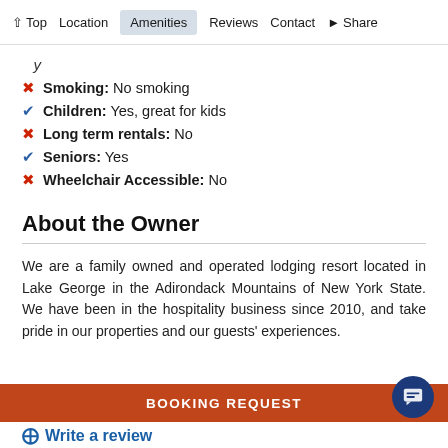Top   Location   Amenities   Reviews   Contact   Share
Smoking: No smoking
Children: Yes, great for kids
Long term rentals: No
Seniors: Yes
Wheelchair Accessible: No
About the Owner
We are a family owned and operated lodging resort located in Lake George in the Adirondack Mountains of New York State. We have been in the hospitality business since 2010, and take pride in our properties and our guests' experiences.
BOOKING REQUEST
Write a review